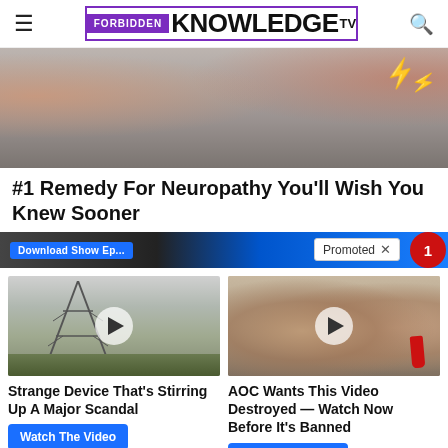FORBIDDEN KNOWLEDGE TV
[Figure (photo): Close-up photo of skin/fabric with lightning bolt graphics, partial view of fingers]
#1 Remedy For Neuropathy You'll Wish You Knew Sooner
Promoted X
[Figure (photo): Video thumbnail of collapsed power transmission tower with play button]
Strange Device That's Stirring Up A Major Scandal
Watch The Video
[Figure (photo): Video thumbnail of two people (woman and man with red tie) with play button]
AOC Wants This Video Destroyed — Watch Now Before It's Banned
Watch The Video